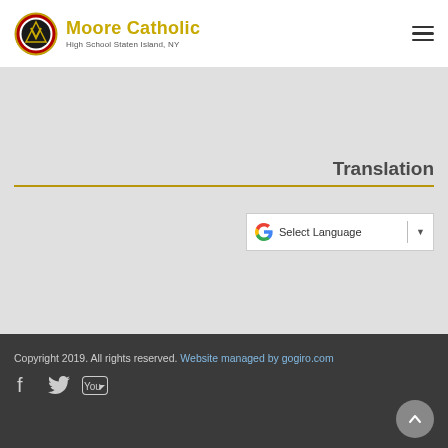[Figure (logo): Moore Catholic High School logo — circular red and gold badge with triangle, next to school name text 'Moore Catholic' in gold and 'High School Staten Island, NY' in gray]
Translation
[Figure (screenshot): Google Translate 'Select Language' dropdown widget with Google G logo]
Copyright 2019. All rights reserved. Website managed by gogiro.com
[Figure (illustration): Social media icons: Facebook, Twitter, YouTube]